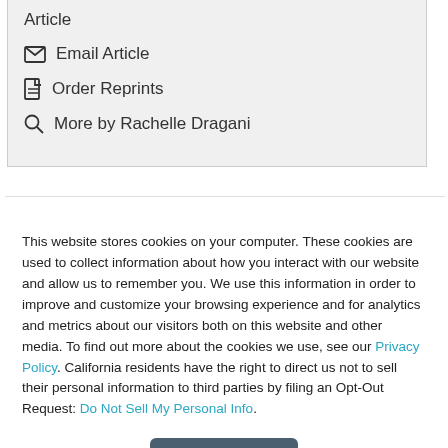Article
Email Article
Order Reprints
More by Rachelle Dragani
Leave a Comment
This website stores cookies on your computer. These cookies are used to collect information about how you interact with our website and allow us to remember you. We use this information in order to improve and customize your browsing experience and for analytics and metrics about our visitors both on this website and other media. To find out more about the cookies we use, see our Privacy Policy. California residents have the right to direct us not to sell their personal information to third parties by filing an Opt-Out Request: Do Not Sell My Personal Info.
Accept